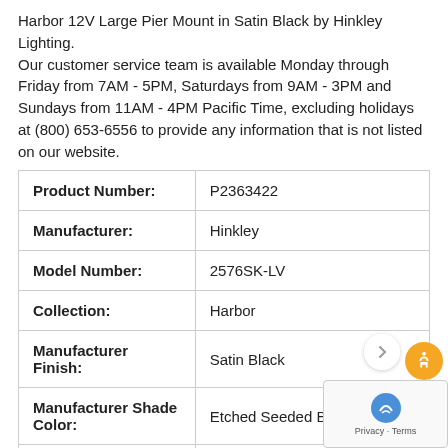Harbor 12V Large Pier Mount in Satin Black by Hinkley Lighting.
Our customer service team is available Monday through Friday from 7AM - 5PM, Saturdays from 9AM - 3PM and Sundays from 11AM - 4PM Pacific Time, excluding holidays at (800) 653-6556 to provide any information that is not listed on our website.
|  |  |
| --- | --- |
| Product Number: | P2363422 |
| Manufacturer: | Hinkley |
| Model Number: | 2576SK-LV |
| Collection: | Harbor |
| Manufacturer Finish: | Satin Black |
| Manufacturer Shade Color: | Etched Seeded Bound |
| Glass Treatment: | Etched, Seeded |
| Total Wattage: | 2.5... |